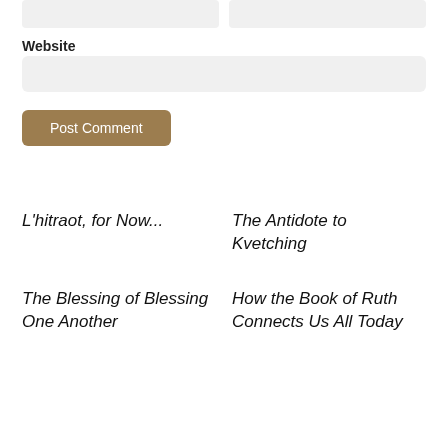[input boxes row]
Website
[website input box]
Post Comment
L'hitraot, for Now...
The Antidote to Kvetching
The Blessing of Blessing One Another
How the Book of Ruth Connects Us All Today